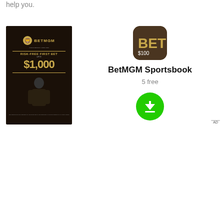help you.
[Figure (screenshot): BetMGM Sportsbook advertisement showing a promotional poster on the left with 'RISK-FREE FIRST BET up to $1,000' and a suited man, alongside the app icon, name 'BetMGM Sportsbook', price '5 free', and a green download button on the right. An AD badge is visible in the bottom right.]